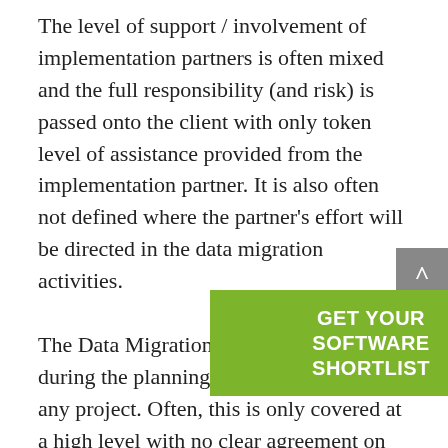The level of support / involvement of implementation partners is often mixed and the full responsibility (and risk) is passed onto the client with only token level of assistance provided from the implementation partner. It is also often not defined where the partner’s effort will be directed in the data migration activities.

The Data Migration journey should start during the planning and scoping phase of any project. Often, this is only covered at a high level with no clear agreement on the overall data migration approach, clarity on roles and responsibilities or understanding of the likely ‘true’ work effort required. As this is a critical path proje… quired during plan… eds to be f…
[Figure (other): Green call-to-action banner overlay reading GET YOUR SOFTWARE SHORTLIST]